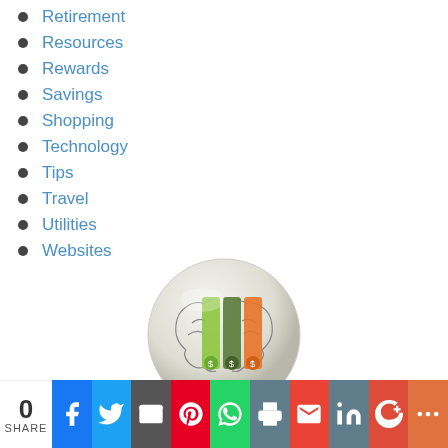Retirement
Resources
Rewards
Savings
Shopping
Technology
Tips
Travel
Utilities
Websites
[Figure (illustration): A circular illustration of a brain/head with colorful vertical bars (green, dark green, orange) representing financial categories, rendered as a glass-sphere icon.]
0 SHARE | Facebook | Twitter | Email | Pinterest | WhatsApp | Print | Gmail | LinkedIn | Google+ | More